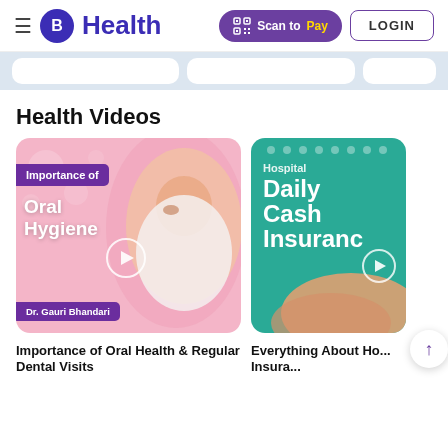B Health — Scan to Pay | LOGIN
Health Videos
[Figure (photo): Video thumbnail: Importance of Oral Hygiene, featuring Dr. Gauri Bhandari with pink background]
[Figure (photo): Video thumbnail: Hospital Daily Cash Insurance on teal/green background]
Importance of Oral Health & Regular Dental Visits
Everything About Ho... Insura...